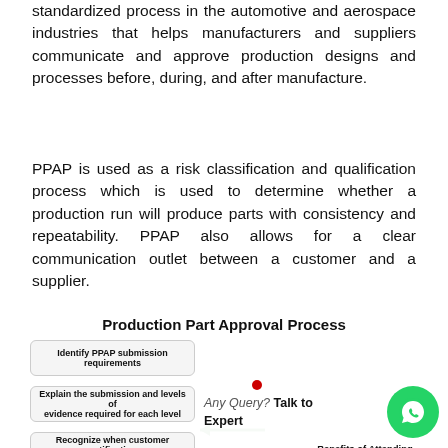standardized process in the automotive and aerospace industries that helps manufacturers and suppliers communicate and approve production designs and processes before, during, and after manufacture.
PPAP is used as a risk classification and qualification process which is used to determine whether a production run will produce parts with consistency and repeatability. PPAP also allows for a clear communication outlet between a customer and a supplier.
Production Part Approval Process
[Figure (flowchart): Partial flowchart showing steps of the Production Part Approval Process. Step 1: Identify PPAP submission requirements. Step 2: Explain the submission and levels of evidence required for each level. Step 3: Recognize when customer notification and submission are required. An arrow points left between steps. Overlaid WhatsApp chat bubble with 'Any Query? Talk to Expert' text and green WhatsApp icon, plus 'Benefits of Attending This Training' label.]